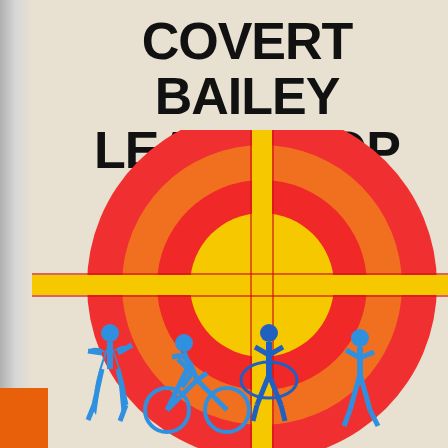COVERT BAILEY LEA BISHOP
[Figure (illustration): A book cover illustration featuring a large concentric circle target/bullseye design with rings in red, orange, and yellow, overlaid with a crosshair/scope reticle in yellow/red. In the foreground, blue silhouette figures of people exercising (running, cycling, jumping rope) are shown against the target background.]